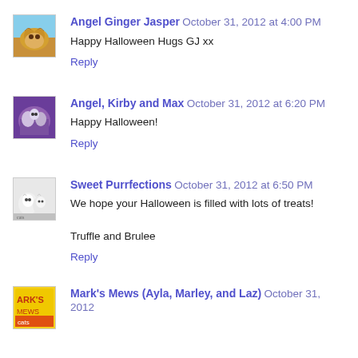[Figure (photo): Avatar of Angel Ginger Jasper, a ginger cat]
Angel Ginger Jasper October 31, 2012 at 4:00 PM
Happy Halloween Hugs GJ xx
Reply
[Figure (photo): Avatar of Angel, Kirby and Max, cats/pets]
Angel, Kirby and Max October 31, 2012 at 6:20 PM
Happy Halloween!
Reply
[Figure (photo): Avatar of Sweet Purrfections, two white cats]
Sweet Purrfections October 31, 2012 at 6:50 PM
We hope your Halloween is filled with lots of treats!
Truffle and Brulee
Reply
[Figure (photo): Avatar of Mark's Mews, colorful illustrated logo]
Mark's Mews (Ayla, Marley, and Laz) October 31, 2012